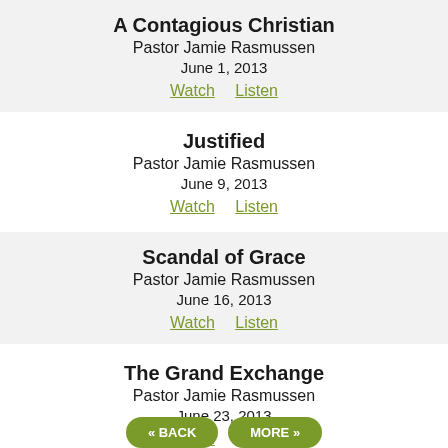A Contagious Christian
Pastor Jamie Rasmussen
June 1, 2013
Watch   Listen
Justified
Pastor Jamie Rasmussen
June 9, 2013
Watch   Listen
Scandal of Grace
Pastor Jamie Rasmussen
June 16, 2013
Watch   Listen
The Grand Exchange
Pastor Jamie Rasmussen
June 23, 2013
Watch   Listen
« BACK   MORE »